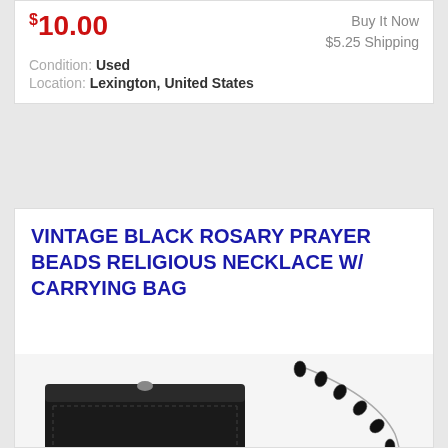$10.00
Buy It Now
$5.25 Shipping
Condition: Used
Location: Lexington, United States
VINTAGE BLACK ROSARY PRAYER BEADS RELIGIOUS NECKLACE W/ CARRYING BAG
[Figure (photo): Black leather rosary pouch labeled 'My Rosary' in old english script, alongside a black bead rosary necklace with silver crucifix and medallion, laid on a white surface.]